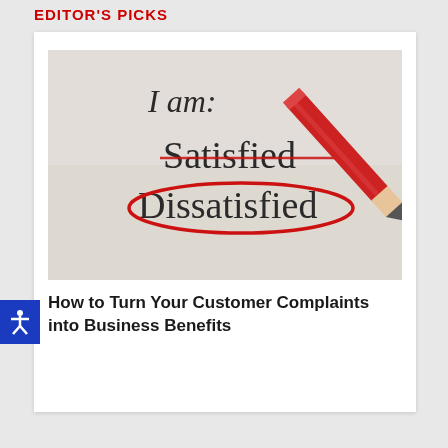EDITOR'S PICKS
[Figure (photo): A paper showing checkboxes with 'I am: Satisfied / Dissatisfied' where Dissatisfied is circled in red, with a red pencil resting on the paper]
How to Turn Your Customer Complaints into Business Benefits